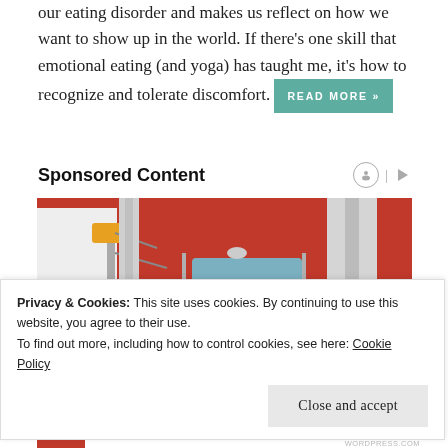our eating disorder and makes us reflect on how we want to show up in the world. If there's one skill that emotional eating (and yoga) has taught me, it's how to recognize and tolerate discomfort. READ MORE »
Sponsored Content
[Figure (photo): A woman smiling from the window of a red semi-truck cab, seen from outside at cab level.]
Privacy & Cookies: This site uses cookies. By continuing to use this website, you agree to their use.
To find out more, including how to control cookies, see here: Cookie Policy
Close and accept